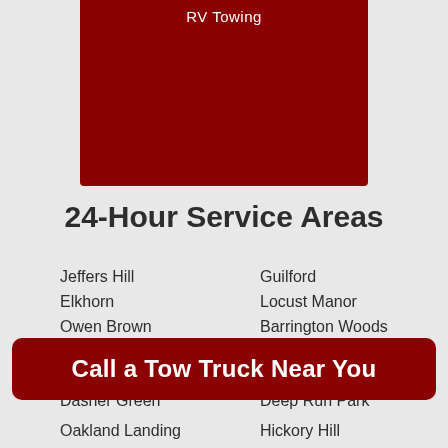[Figure (other): Dark red banner at top center with text 'RV Towing']
24-Hour Service Areas
Jeffers Hill
Guilford
Elkhorn
Locust Manor
Owen Brown
Barrington Woods
Stevens Forest
Arrowhead
Locust Park
Montgomery Run
Dasher Green
Deep Run Park
[Figure (other): Dark red call-to-action button reading 'Call a Tow Truck Near You']
Oakland Landing
Hickory Hill